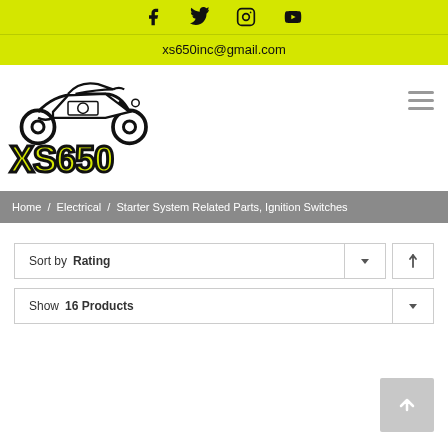Social icons: Facebook, Twitter, Instagram, YouTube
xs650inc@gmail.com
[Figure (logo): XS650 motorcycle parts store logo with motorcycle outline above stylized yellow XS650 text]
Home / Electrical / Starter System Related Parts, Ignition Switches
Sort by Rating
Show 16 Products